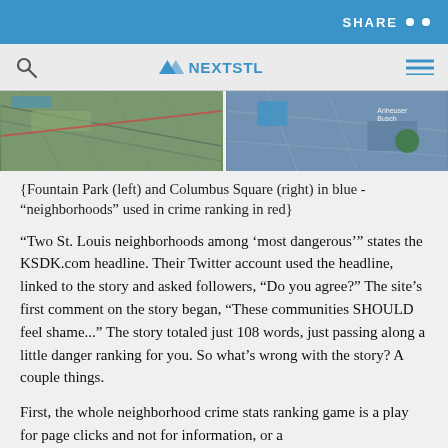SHARE
[Figure (screenshot): NextSTL website navigation bar with search icon, NextSTL logo, and hamburger menu]
[Figure (photo): Two satellite map images side by side: Fountain Park (left) and Columbus Square (right) neighborhoods]
{Fountain Park (left) and Columbus Square (right) in blue - "neighborhoods" used in crime ranking in red}
"Two St. Louis neighborhoods among 'most dangerous'" states the KSDK.com headline. Their Twitter account used the headline, linked to the story and asked followers, "Do you agree?" The site's first comment on the story began, "These communities SHOULD feel shame..." The story totaled just 108 words, just passing along a little danger ranking for you. So what's wrong with the story? A couple things.
First, the whole neighborhood crime stats ranking game is a play for page clicks and not for information, or a